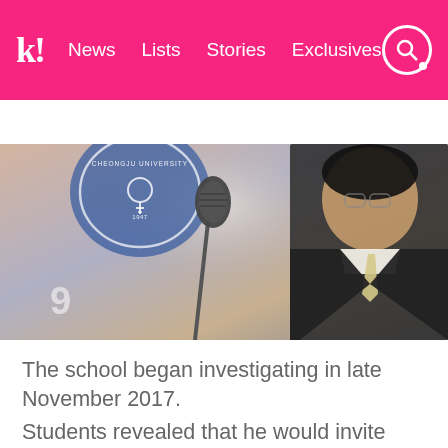k! News Lists Stories Exclusives
BTS TWICE BLACKPINK aespa NCT IVE SHIN
[Figure (photo): A man in a dark suit with a light tie speaks at a podium with a microphone. A Cheongju University logo/seal is visible in the background. The number 9 is visible in the lower left corner.]
The school began investigating in late November 2017.
Students revealed that he would invite them over to his house late at night after getting